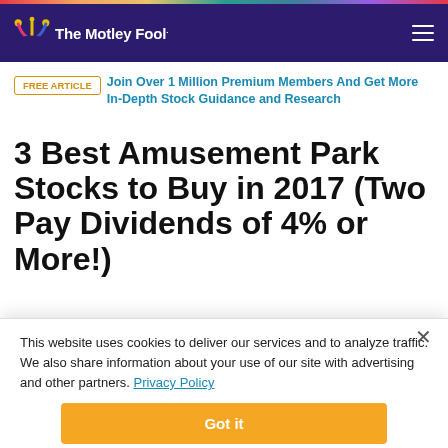The Motley Fool
FREE ARTICLE  Join Over 1 Million Premium Members And Get More In-Depth Stock Guidance and Research
3 Best Amusement Park Stocks to Buy in 2017 (Two Pay Dividends of 4% or More!)
This website uses cookies to deliver our services and to analyze traffic. We also share information about your use of our site with advertising and other partners. Privacy Policy
Got it
Cookie Settings